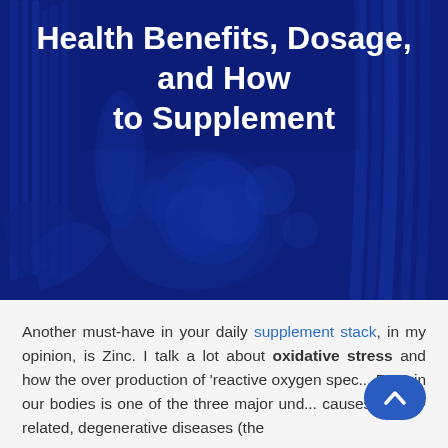[Figure (photo): Dark blue-tinted photograph of various vegetables including cauliflower, carrots, corn, and other produce arranged together, serving as a hero banner image]
Health Benefits, Dosage, and How to Supplement
Another must-have in your daily supplement stack, in my opinion, is Zinc. I talk a lot about oxidative stress and how the over production of 'reactive oxygen spe... ROS in our bodies is one of the three major un... causes of age-related, degenerative diseases (the